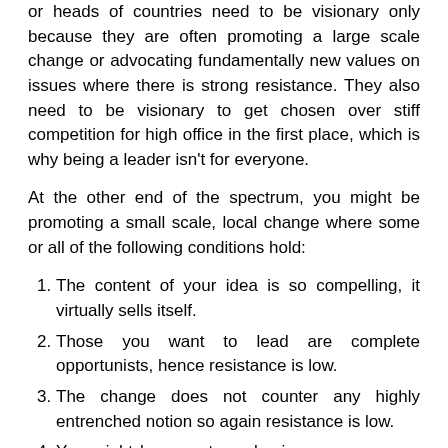or heads of countries need to be visionary only because they are often promoting a large scale change or advocating fundamentally new values on issues where there is strong resistance. They also need to be visionary to get chosen over stiff competition for high office in the first place, which is why being a leader isn't for everyone.
At the other end of the spectrum, you might be promoting a small scale, local change where some or all of the following conditions hold:
The content of your idea is so compelling, it virtually sells itself.
Those you want to lead are complete opportunists, hence resistance is low.
The change does not counter any highly entrenched notion so again resistance is low.
You might have a strong business case or can demonstrate the merits of your proposal.
In this context, you might not need to be visionary or